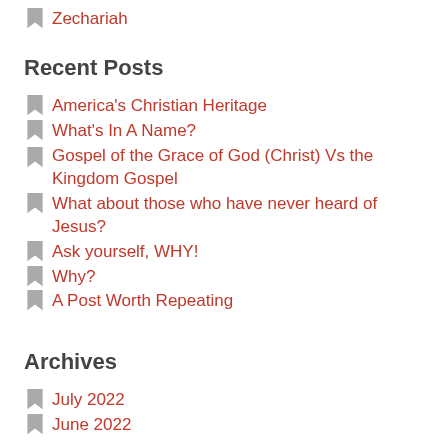Zechariah
Recent Posts
America's Christian Heritage
What's In A Name?
Gospel of the Grace of God (Christ) Vs the Kingdom Gospel
What about those who have never heard of Jesus?
Ask yourself, WHY!
Why?
A Post Worth Repeating
Archives
July 2022
June 2022